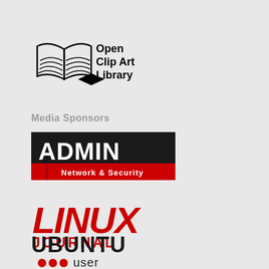[Figure (logo): Open Clip Art Library logo with stylized open book icon and text 'Open Clip Art Library']
Media Sponsors
[Figure (logo): ADMIN Network & Security magazine logo - black rectangle with white bold ADMIN text and red bar with white 'Network & Security' text]
[Figure (logo): Linux Journal logo - red italic bold LINUX text with JOURNAL below in red bold caps]
[Figure (logo): Ubuntu User logo - UBUNTU in bold black caps with red dots and 'user' text below]